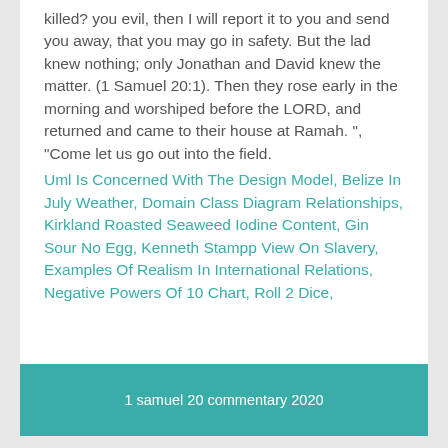killed? you evil, then I will report it to you and send you away, that you may go in safety. But the lad knew nothing; only Jonathan and David knew the matter. (1 Samuel 20:1). Then they rose early in the morning and worshiped before the LORD, and returned and came to their house at Ramah. ", "Come let us go out into the field.
Uml Is Concerned With The Design Model, Belize In July Weather, Domain Class Diagram Relationships, Kirkland Roasted Seaweed Iodine Content, Gin Sour No Egg, Kenneth Stampp View On Slavery, Examples Of Realism In International Relations, Negative Powers Of 10 Chart, Roll 2 Dice,
1 samuel 20 commentary 2020